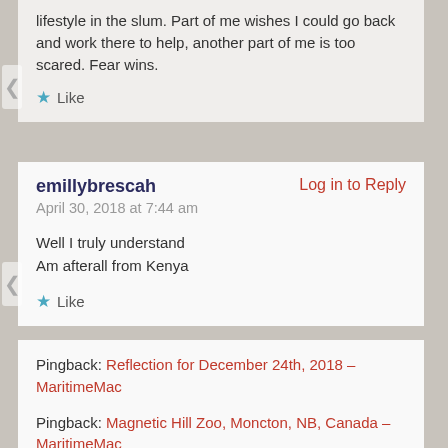lifestyle in the slum. Part of me wishes I could go back and work there to help, another part of me is too scared. Fear wins.
Like
emillybrescah
Log in to Reply
April 30, 2018 at 7:44 am
Well I truly understand
Am afterall from Kenya
Like
Pingback: Reflection for December 24th, 2018 – MaritimeMac
Pingback: Magnetic Hill Zoo, Moncton, NB, Canada – MaritimeMac